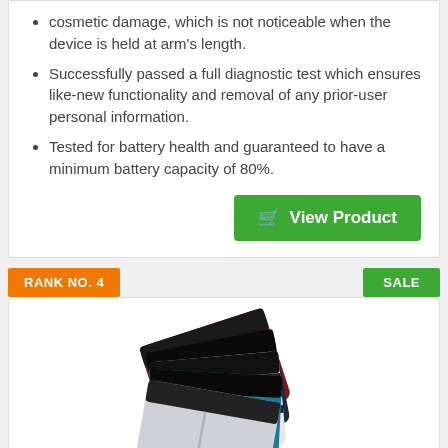cosmetic damage, which is not noticeable when the device is held at arm's length.
Successfully passed a full diagnostic test which ensures like-new functionality and removal of any prior-user personal information.
Tested for battery health and guaranteed to have a minimum battery capacity of 80%.
View Product
RANK NO. 4
SALE
[Figure (photo): Stack of men's boxer briefs in various colors: dark red/maroon, dark/navy, striped black and white, teal/blue, and light grey, fanned out in a cascading arrangement.]